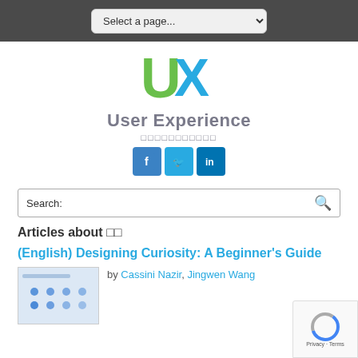Select a page...
[Figure (logo): UX User Experience logo with green U and blue X letters, site title 'User Experience' in grey, subtitle text in Thai/decorative script, and social media icons for Facebook, Twitter, LinkedIn]
Search:
Articles about 🔲🔲
(English) Designing Curiosity: A Beginner's Guide
[Figure (screenshot): Thumbnail preview of article with blue dot grid pattern]
by Cassini Nazir, Jingwen Wang